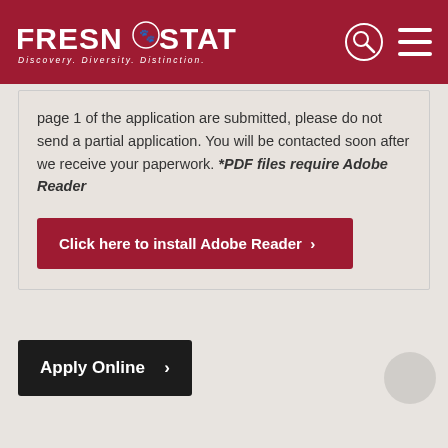FRESNO STATE — Discovery. Diversity. Distinction.
page 1 of the application are submitted, please do not send a partial application. You will be contacted soon after we receive your paperwork. *PDF files require Adobe Reader
Click here to install Adobe Reader >
Apply Online >